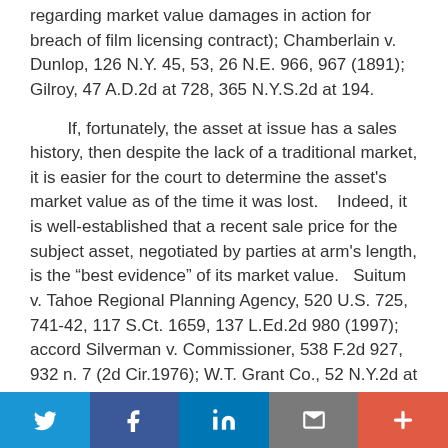regarding market value damages in action for breach of film licensing contract);  Chamberlain v. Dunlop, 126 N.Y. 45, 53, 26 N.E. 966, 967 (1891);  Gilroy, 47 A.D.2d at 728, 365 N.Y.S.2d at 194.
If, fortunately, the asset at issue has a sales history, then despite the lack of a traditional market, it is easier for the court to determine the asset's market value as of the time it was lost.    Indeed, it is well-established that a recent sale price for the subject asset, negotiated by parties at arm's length, is the “best evidence” of its market value.   Suitum v. Tahoe Regional Planning Agency, 520 U.S. 725, 741-42, 117 S.Ct. 1659, 137 L.Ed.2d 980 (1997);  accord Silverman v. Commissioner, 538 F.2d 927, 932 n. 7 (2d Cir.1976);  W.T. Grant Co., 52 N.Y.2d at 511, 420 N.E.2d at 960, 438 N.Y.S.2d at 768;  see also Grill v. United States, 157 Ct.Cl. 804, 303 F.2d 922, 927 (Ct.Cl.1962) (distribution rights to the film
Twitter | Facebook | LinkedIn | Email | +